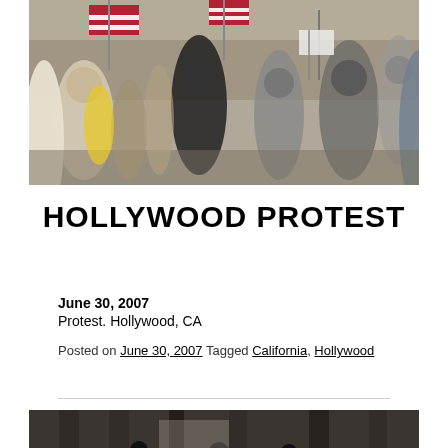[Figure (photo): Outdoor protest march showing a crowd of people carrying American flags and signs on a city street in Hollywood, CA]
HOLLYWOOD PROTEST
June 30, 2007
Protest. Hollywood, CA
Posted on June 30, 2007 Tagged California, Hollywood
[Figure (photo): Black and white photo of people near a building exterior, partial view at bottom of page]